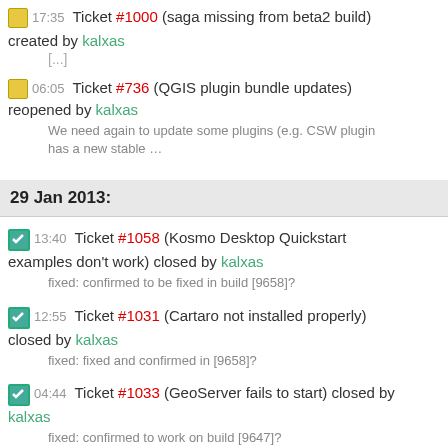[...] Ticket #1000 (saga missing from beta2 build) created by kalxas
[...]
06:05 Ticket #736 (QGIS plugin bundle updates) reopened by kalxas
We need again to update some plugins (e.g. CSW plugin has a new stable ...
29 Jan 2013:
13:40 Ticket #1058 (Kosmo Desktop Quickstart examples don't work) closed by kalxas
fixed: confirmed to be fixed in build [9658]?
12:55 Ticket #1031 (Cartaro not installed properly) closed by kalxas
fixed: fixed and confirmed in [9658]?
04:44 Ticket #1033 (GeoServer fails to start) closed by kalxas
fixed: confirmed to work on build [9647]?